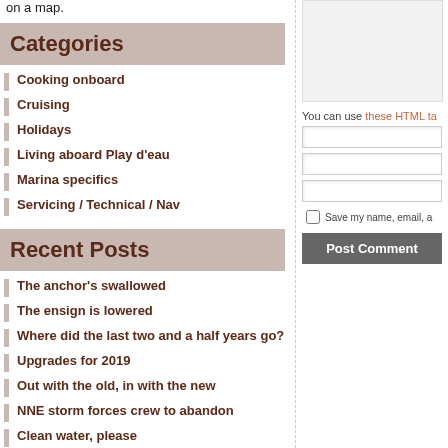on a map.
Categories
Cooking onboard
Cruising
Holidays
Living aboard Play d'eau
Marina specifics
Servicing / Technical / Nav
Recent Posts
The anchor's swallowed
The ensign is lowered
Where did the last two and a half years go?
Upgrades for 2019
Out with the old, in with the new
NNE storm forces crew to abandon
Clean water, please
A child is born
Diesel
Return to Carentan
Oh no! to Elation
It's Christmas!
Double First Ltd wins Queen's
You can use these HTML ta
Save my name, email, a
Post Comment